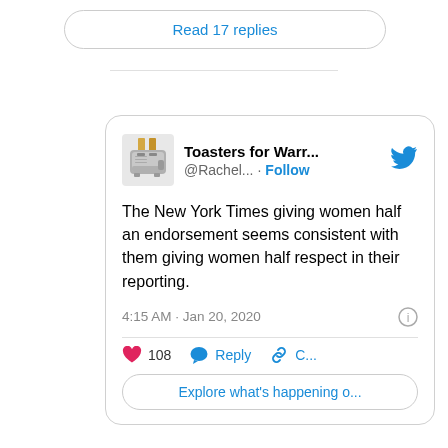Read 17 replies
[Figure (screenshot): Tweet from Toasters for Warr... (@Rachel...) with Twitter bird icon, toaster avatar, tweet text, timestamp, and action buttons]
Toasters for Warr...
@Rachel... · Follow
The New York Times giving women half an endorsement seems consistent with them giving women half respect in their reporting.
4:15 AM · Jan 20, 2020
108 Reply C...
Explore what's happening o...